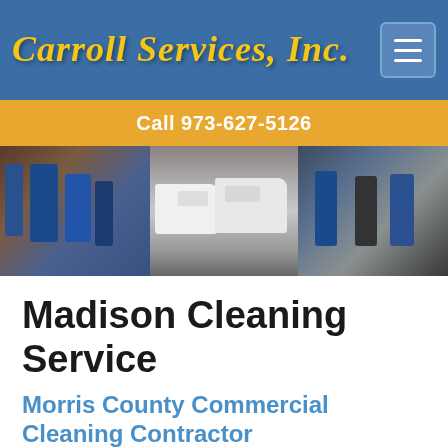Carroll Services, Inc.
Call 973-627-5126
[Figure (photo): Composite banner photo showing cleaning crew workers in blue uniforms, company white vans parked outside, and a worker using floor cleaning equipment in a hallway.]
Madison Cleaning Service
Morris County Commercial Cleaning Contractor
Carroll Services Inc. offers industrial, governmental, educational and institutional cleaning services in Madison, NJ, throughout Morris County and across New Jersey. Carroll